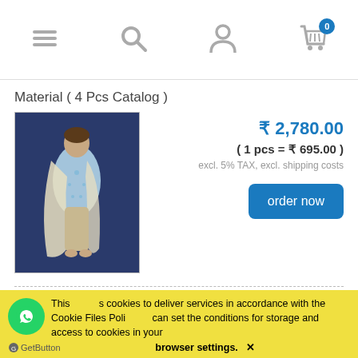Navigation bar with menu, search, account, and cart (0 items) icons
Material ( 4 Pcs Catalog )
[Figure (photo): Woman wearing light blue embroidered dress/salwar suit with cream dupatta on blue background]
₹ 2,780.00
( 1 pcs = ₹ 695.00 )
excl. 5% TAX, excl. shipping costs
order now
Cameric Cotton With Traditional Batik Print Dress
Material ( 4 Pcs Catalog )
This site uses cookies to deliver services in accordance with the Cookie Files Policy. You can set the conditions for storage and access to cookies in your browser settings. ✕